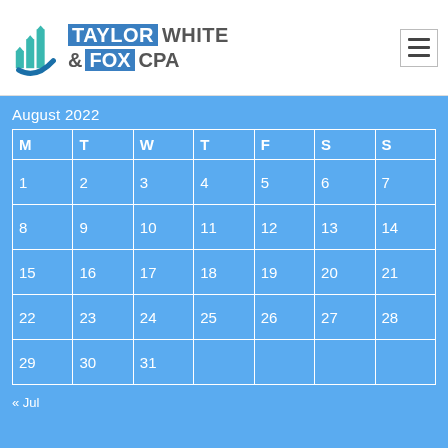[Figure (logo): Taylor White & Fox CPA logo with teal bar chart icon and blue swoosh, company name in blue and grey text]
August 2022
| M | T | W | T | F | S | S |
| --- | --- | --- | --- | --- | --- | --- |
| 1 | 2 | 3 | 4 | 5 | 6 | 7 |
| 8 | 9 | 10 | 11 | 12 | 13 | 14 |
| 15 | 16 | 17 | 18 | 19 | 20 | 21 |
| 22 | 23 | 24 | 25 | 26 | 27 | 28 |
| 29 | 30 | 31 |  |  |  |  |
« Jul